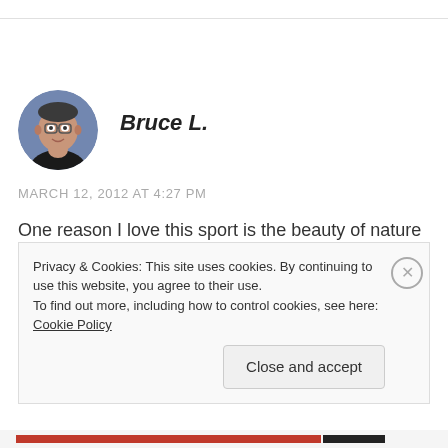[Figure (photo): Circular avatar photo of a man wearing glasses, with a blue/gray background]
Bruce L.
MARCH 12, 2012 AT 4:27 PM
One reason I love this sport is the beauty of nature and the banter of those you’re with, so why would I ruin that with music? I know one
Privacy & Cookies: This site uses cookies. By continuing to use this website, you agree to their use.
To find out more, including how to control cookies, see here: Cookie Policy
Close and accept